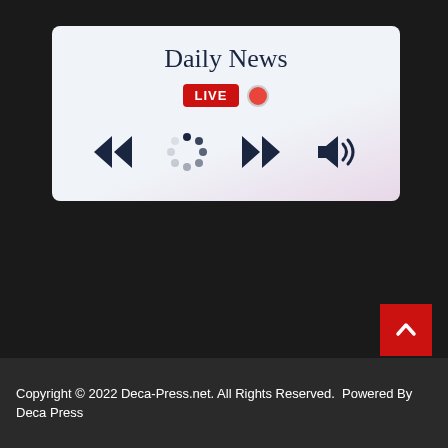Daily News
[Figure (screenshot): A media player UI card with 'Daily News' title, a LIVE badge with red dot, and playback controls: skip-back, loading spinner, skip-forward, and volume icon.]
[Figure (other): Red scroll-to-top button with upward chevron arrow]
Copyright © 2022 Deca-Press.net. All Rights Reserved.  Powered By Deca Press